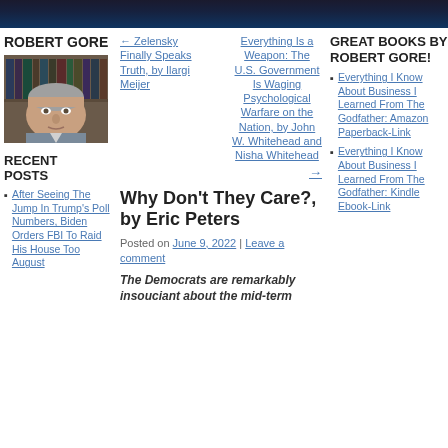[Figure (photo): Dark banner image at top of webpage]
ROBERT GORE
[Figure (photo): Headshot photo of Robert Gore, middle-aged man with grey hair in front of bookshelves]
← Zelensky Finally Speaks Truth, by Ilargi Meijer
Everything Is a Weapon: The U.S. Government Is Waging Psychological Warfare on the Nation, by John W. Whitehead and Nisha Whitehead →
GREAT BOOKS BY ROBERT GORE!
Everything I Know About Business I Learned From The Godfather: Amazon Paperback-Link
RECENT POSTS
After Seeing The Jump In Trump's Poll Numbers, Biden Orders FBI To Raid His House Too August
Why Don't They Care?, by Eric Peters
Posted on June 9, 2022 | Leave a comment
The Democrats are remarkably insouciant about the mid-term
Everything I Know About Business I Learned From The Godfather: Kindle Ebook-Link